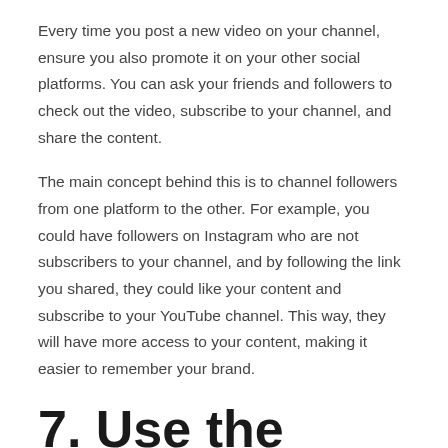Every time you post a new video on your channel, ensure you also promote it on your other social platforms. You can ask your friends and followers to check out the video, subscribe to your channel, and share the content.
The main concept behind this is to channel followers from one platform to the other. For example, you could have followers on Instagram who are not subscribers to your channel, and by following the link you shared, they could like your content and subscribe to your YouTube channel. This way, they will have more access to your content, making it easier to remember your brand.
7. Use the Right Soundtracks for